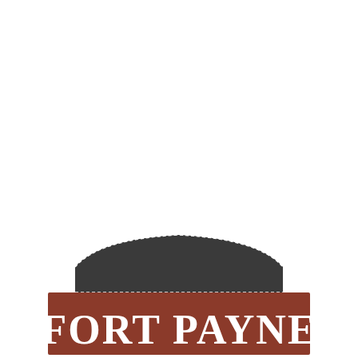[Figure (logo): Fort Payne city sign logo with a dark arch/hill shape on top and a red rectangular banner reading FORT PAYNE in white serif letters below]